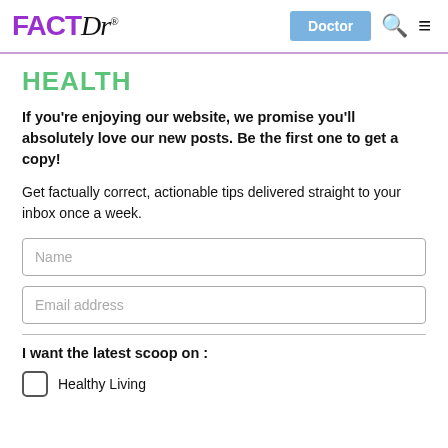FACTDr | Doctor | Search | Menu
HEALTH
If you're enjoying our website, we promise you'll absolutely love our new posts. Be the first one to get a copy!
Get factually correct, actionable tips delivered straight to your inbox once a week.
Name
Email address
I want the latest scoop on :
Healthy Living